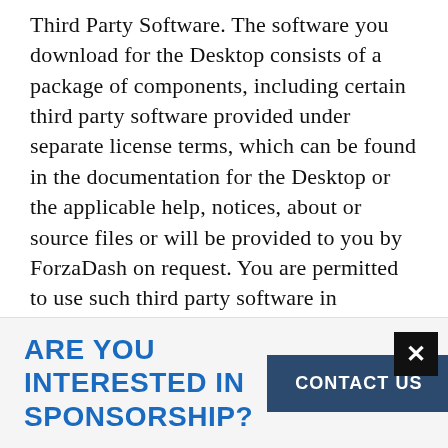Third Party Software. The software you download for the Desktop consists of a package of components, including certain third party software provided under separate license terms, which can be found in the documentation for the Desktop or the applicable help, notices, about or source files or will be provided to you by ForzaDash on request. You are permitted to use such third party software in conjunction with the Desktop in a manner consistent with the terms of this Agreement, however, you may have broader rights under the applicable separate license terms and nothing in this Agreement is
ARE YOU INTERESTED IN SPONSORSHIP?
CONTACT US